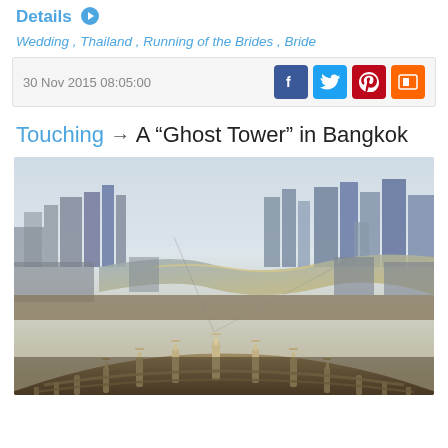Details
Wedding , Thailand , Running of the Brides , Bride
30 Nov 2015 08:05:00
Touching → A “Ghost Tower” in Bangkok
[Figure (photo): Aerial view of Bangkok city and the Chao Phraya river, taken from the top of a tall building with ornate concrete spires in the foreground]